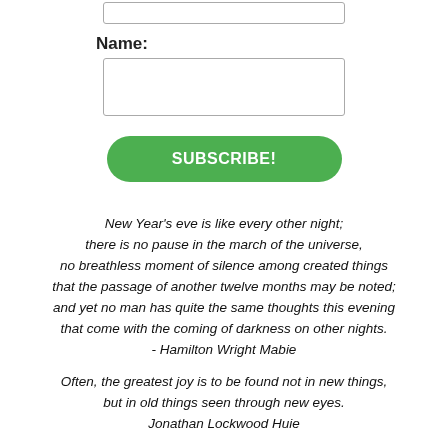[Figure (other): Empty text input box at top of page]
Name:
[Figure (other): Empty text input box labeled Name]
SUBSCRIBE!
New Year's eve is like every other night; there is no pause in the march of the universe, no breathless moment of silence among created things that the passage of another twelve months may be noted; and yet no man has quite the same thoughts this evening that come with the coming of darkness on other nights. - Hamilton Wright Mabie
Often, the greatest joy is to be found not in new things, but in old things seen through new eyes. Jonathan Lockwood Huie